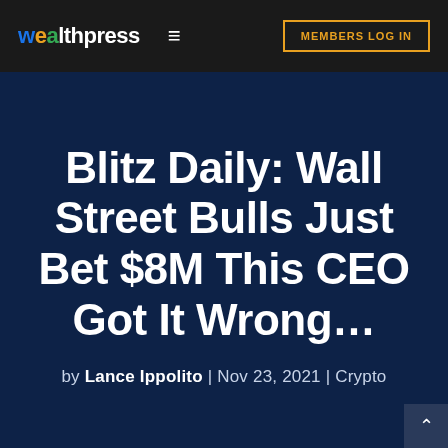wealthpress | MEMBERS LOG IN
Blitz Daily: Wall Street Bulls Just Bet $8M This CEO Got It Wrong…
by Lance Ippolito | Nov 23, 2021 | Crypto